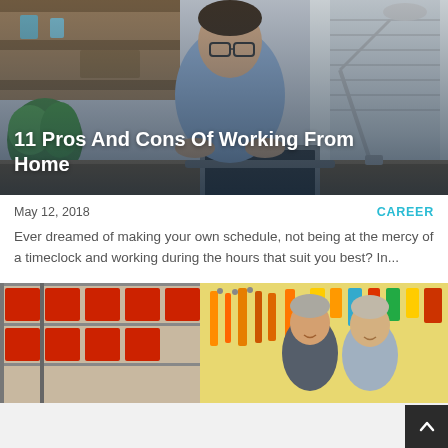[Figure (photo): Man with glasses sitting at a home office desk working at a laptop, with a desk lamp and shelves in the background]
11 Pros And Cons Of Working From Home
May 12, 2018
CAREER
Ever dreamed of making your own schedule, not being at the mercy of a timeclock and working during the hours that suit you best? In...
[Figure (photo): Two men smiling in a hardware or tool store with shelves of tools and equipment behind them]